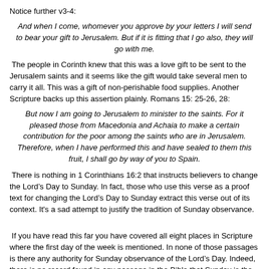Notice further v3-4:
And when I come, whomever you approve by your letters I will send to bear your gift to Jerusalem.  But if it is fitting that I go also, they will go with me.
The people in Corinth knew that this was a love gift to be sent to the Jerusalem saints and it seems like the gift would take several men to carry it all.  This was a gift of non-perishable food supplies.  Another Scripture backs up this assertion plainly.  Romans 15: 25-26, 28:
But now I am going to Jerusalem to minister to the saints.  For it pleased those from Macedonia and Achaia to make a certain contribution for the poor among the saints who are in Jerusalem.  Therefore, when I have performed this and have sealed to them this fruit, I shall go by way of you to Spain.
There is nothing in 1 Corinthians 16:2 that instructs believers to change the Lord’s Day to Sunday.  In fact, those who use this verse as a proof text for changing the Lord’s Day to Sunday extract this verse out of its context.  It's a sad attempt to justify the tradition of Sunday observance.
If you have read this far you have covered all eight places in Scripture where the first day of the week is mentioned.  In none of those passages is there any authority for Sunday observance of the Lord’s Day.  Indeed, there is no record found in any passage in the Bible that Sunday is the Christian Sabbath.  That belief is a tradition not based on Scripture.